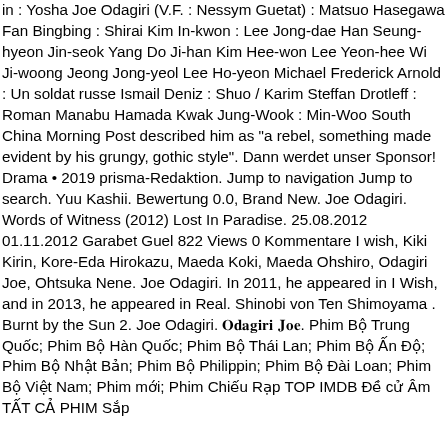in : Yosha Joe Odagiri (V.F. : Nessym Guetat) : Matsuo Hasegawa Fan Bingbing : Shirai Kim In-kwon : Lee Jong-dae Han Seung-hyeon Jin-seok Yang Do Ji-han Kim Hee-won Lee Yeon-hee Wi Ji-woong Jeong Jong-yeol Lee Ho-yeon Michael Frederick Arnold : Un soldat russe Ismail Deniz : Shuo / Karim Steffan Drotleff : Roman Manabu Hamada Kwak Jung-Wook : Min-Woo South China Morning Post described him as "a rebel, something made evident by his grungy, gothic style". Dann werdet unser Sponsor! Drama • 2019 prisma-Redaktion. Jump to navigation Jump to search. Yuu Kashii. Bewertung 0.0, Brand New. Joe Odagiri. Words of Witness (2012) Lost In Paradise. 25.08.2012 01.11.2012 Garabet Guel 822 Views 0 Kommentare I wish, Kiki Kirin, Kore-Eda Hirokazu, Maeda Koki, Maeda Ohshiro, Odagiri Joe, Ohtsuka Nene. Joe Odagiri. In 2011, he appeared in I Wish, and in 2013, he appeared in Real. Shinobi von Ten Shimoyama . Burnt by the Sun 2. Joe Odagiri. 𝐎𝐝𝐚𝐠𝐢𝐫𝐢 𝐉𝐨𝐞. Phim Bộ Trung Quốc; Phim Bộ Hàn Quốc; Phim Bộ Thái Lan; Phim Bộ Ấn Độ; Phim Bộ Nhật Bản; Phim Bộ Philippin; Phim Bộ Đài Loan; Phim Bộ Việt Nam; Phim mới; Phim Chiếu Rạp TOP IMDB Đề cử Âm TẤT CẢ PHIM Sắp